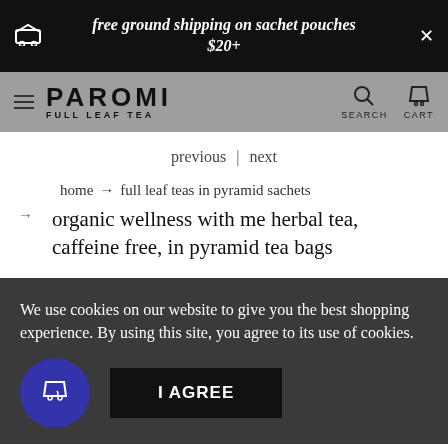free ground shipping on sachet pouches $20+
PAROMI FULL LEAF TEA
previous | next
home → full leaf teas in pyramid sachets
organic wellness with me herbal tea, caffeine free, in pyramid tea bags
We use cookies on our website to give you the best shopping experience. By using this site, you agree to its use of cookies.
I AGREE